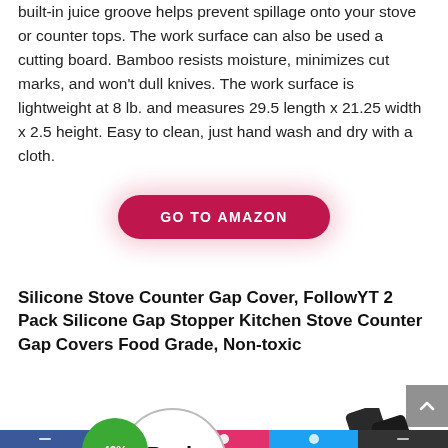built-in juice groove helps prevent spillage onto your stove or counter tops. The work surface can also be used a cutting board. Bamboo resists moisture, minimizes cut marks, and won't dull knives. The work surface is lightweight at 8 lb. and measures 29.5 length x 21.25 width x 2.5 height. Easy to clean, just hand wash and dry with a cloth.
[Figure (other): Red pill-shaped button labeled GO TO AMAZON with pink glow effect]
Silicone Stove Counter Gap Cover, FollowYT 2 Pack Silicone Gap Stopper Kitchen Stove Counter Gap Covers Food Grade, Non-toxic
[Figure (photo): Product image area showing a green badge circle with 40% text, a Pack badge with Amazon arrow logo, and dark colored silicone gap cover product on right side]